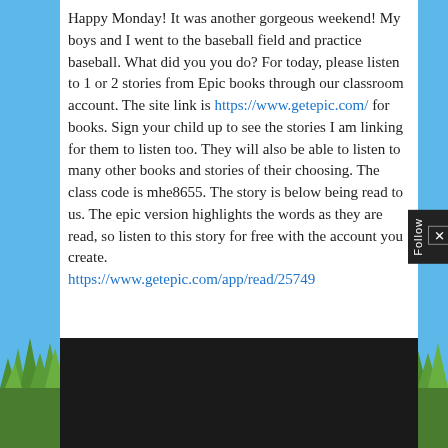Happy Monday! It was another gorgeous weekend! My boys and I went to the baseball field and practice baseball. What did you you do? For today, please listen to 1 or 2 stories from Epic books through our classroom account. The site link is https://www.getepic.com/ for books. Sign your child up to see the stories I am linking for them to listen too. They will also be able to listen to many other books and stories of their choosing. The class code is mhe8655. The story is below being read to us. The epic version highlights the words as they are read, so listen to this story for free with the account you create.
https://www.getepic.com/app/read/25749
[Figure (screenshot): Dark/black video player block at the bottom of the post]